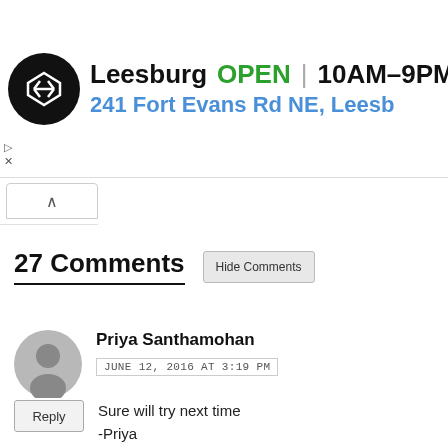[Figure (screenshot): Ad banner showing Leesburg store info: black circular logo with arrow symbol, text 'Leesburg OPEN 10AM-9PM' and address '241 Fort Evans Rd NE, Leesb', blue navigation diamond icon, small play/close icons]
27 Comments
Hide Comments
[Figure (illustration): Gray circular avatar/user placeholder icon]
Priya Santhamohan
JUNE 12, 2016 AT 3:19 PM
Reply
Sure will try next time
-Priya
http://www.asmallbite.com